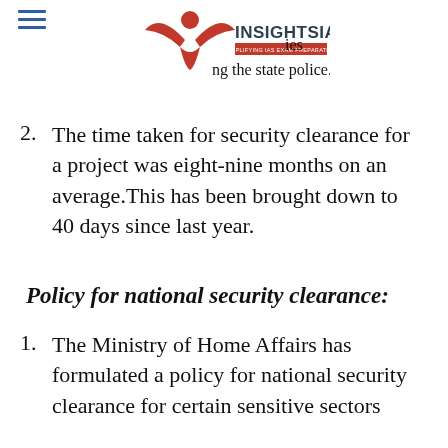[Figure (logo): Insights IAS logo with red bird/book icon and text INSIGHTSIAS SIMPLIFYING IAS EXAM PREPARATION]
The time taken for security clearance for a project was eight-nine months on an average.This has been brought down to 40 days since last year.
Policy for national security clearance:
The Ministry of Home Affairs has formulated a policy for national security clearance for certain sensitive sectors